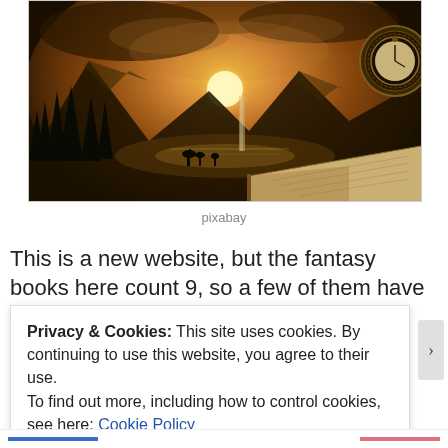[Figure (illustration): Fantasy landscape illustration showing mountains, forest with tall dark trees, a glowing sunset/sunrise in the center, a lake reflecting light, deer silhouettes in the foreground, a waterfall, an open book in the lower right, and an ornate pocket watch in the upper right corner. Dark golden-brown tones.]
pixabay
This is a new website, but the fantasy books here count 9, so a few of them have been around awhile. 2016 is a busy year with
Privacy & Cookies: This site uses cookies. By continuing to use this website, you agree to their use.
To find out more, including how to control cookies, see here: Cookie Policy

[Close and accept]